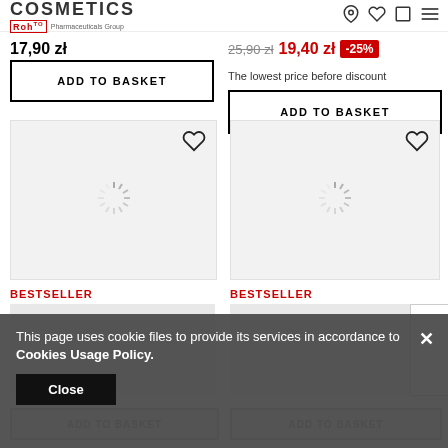COSMETICS | ROHTO Pharmaceuticals Group
17,90 zł
25,90 zł  19,40 zł  -25%
The lowest price before discount
ADD TO BASKET
ADD TO BASKET
[Figure (screenshot): Product image placeholder with loading spinner and heart icon, grey background]
[Figure (screenshot): Product image placeholder with loading spinner and heart icon, grey background]
BESTSELLER
BESTSELLER
[Figure (screenshot): Cookie consent overlay: 'This page uses cookie files to provide its services in accordance to Cookies Usage Policy.' with Close button and X dismiss button]